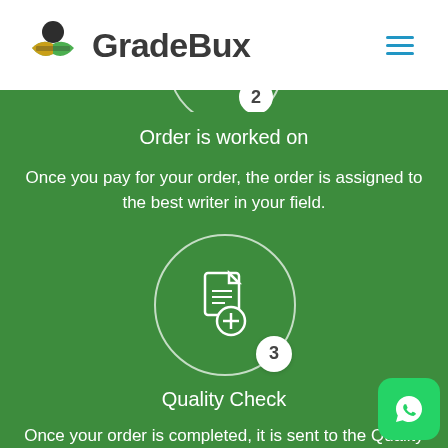GradeBux
Order is worked on
Once you pay for your order, the order is assigned to the best writer in your field.
[Figure (illustration): Step 3 circle icon with document and plus sign, numbered badge '3']
Quality Check
Once your order is completed, it is sent to the Quality